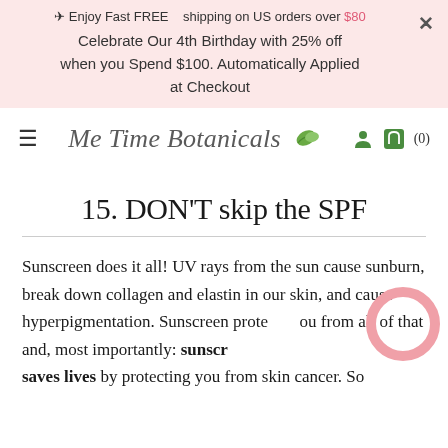→ Enjoy Fast FREE  shipping on US orders over $80
Celebrate Our 4th Birthday with 25% off when you Spend $100. Automatically Applied at Checkout
[Figure (logo): Me Time Botanicals script logo with green leaf accent]
15. DON'T skip the SPF
Sunscreen does it all! UV rays from the sun cause sunburn, break down collagen and elastin in our skin, and cause hyperpigmentation. Sunscreen protects you from all of that and, most importantly: sunscreen saves lives by protecting you from skin cancer. So